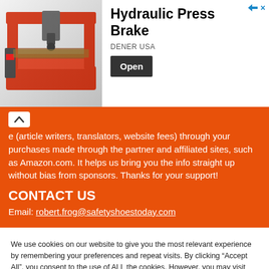[Figure (photo): Advertisement banner showing a CNC machine/hydraulic press brake (red and white industrial machine) with title 'Hydraulic Press Brake', subtitle 'DENER USA', and an 'Open' button]
(article writers, translators, website fees) through your purchases made through the partner and affiliated sites, such as Amazon.com. It helps us bring you the info straight up without bias from sponsors. Thanks for your support!
CONTACT US
Email: robert.frog@safetyshoestoday.com
We use cookies on our website to give you the most relevant experience by remembering your preferences and repeat visits. By clicking “Accept All”, you consent to the use of ALL the cookies. However, you may visit "Cookie Settings" to provide a controlled consent.